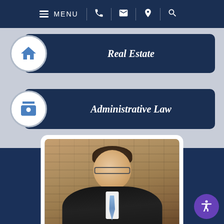MENU
Real Estate
Administrative Law
[Figure (photo): Professional headshot of David Rankin, a middle-aged man with glasses, gray-brown hair, wearing a dark suit with blue tie, smiling, against a brick background]
David Rankin